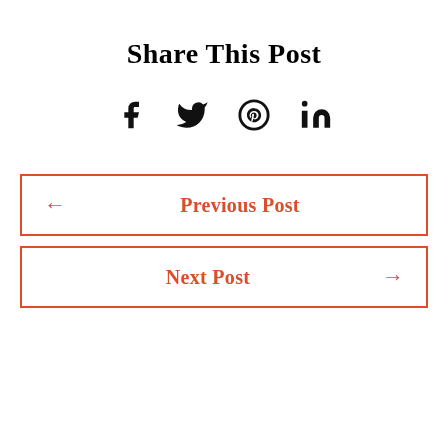Share This Post
[Figure (other): Social media share icons: Facebook, Twitter, Pinterest, LinkedIn]
← Previous Post
Next Post →